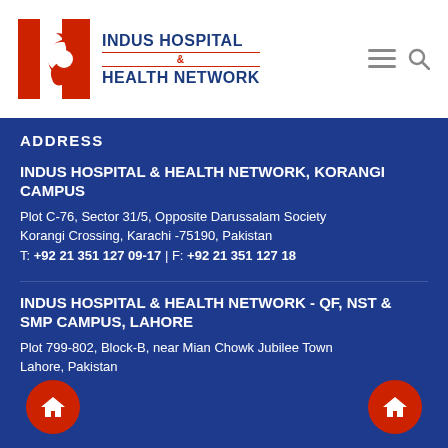[Figure (logo): Indus Hospital & Health Network logo with red H-shaped icon and blue text]
ADDRESS
INDUS HOSPITAL & HEALTH NETWORK, KORANGI CAMPUS
Plot C-76, Sector 31/5, Opposite Darussalam Society
Korangi Crossing, Karachi -75190, Pakistan
T: +92 21 351 127 09-17 | F: +92 21 351 127 18
INDUS HOSPITAL & HEALTH NETWORK - QF, NST & SMP CAMPUS, LAHORE
Plot 799-802, Block-B, near Mian Chowk Jubilee Town
Lahore, Pakistan